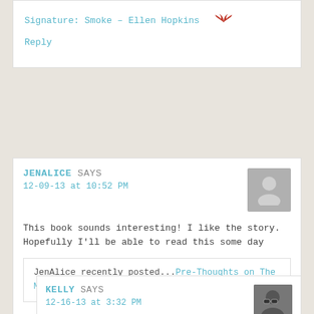Signature: Smoke – Ellen Hopkins 🦅
Reply
JENALICE SAYS
12-09-13 at 10:52 PM
This book sounds interesting! I like the story. Hopefully I'll be able to read this some day
JenAlice recently posted...Pre-Thoughts on The Murder Complex
Reply
KELLY SAYS
12-16-13 at 3:32 PM